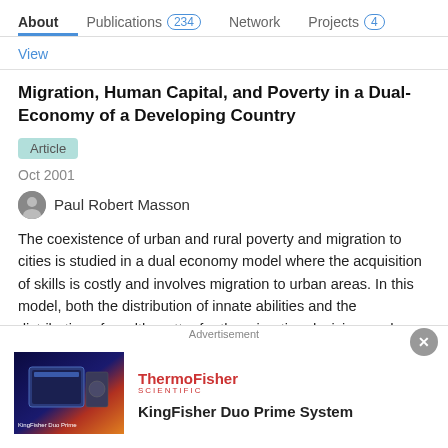About   Publications 234   Network   Projects 4
View
Migration, Human Capital, and Poverty in a Dual-Economy of a Developing Country
Article
Oct 2001
Paul Robert Masson
The coexistence of urban and rural poverty and migration to cities is studied in a dual economy model where the acquisition of skills is costly and involves migration to urban areas. In this model, both the distribution of innate abilities and the distribution of wealth matter for the migration decision, and costs of backmigration may produce an ur...
Advertisement
[Figure (photo): ThermoFisher Scientific advertisement showing KingFisher Duo Prime System product image]
KingFisher Duo Prime System